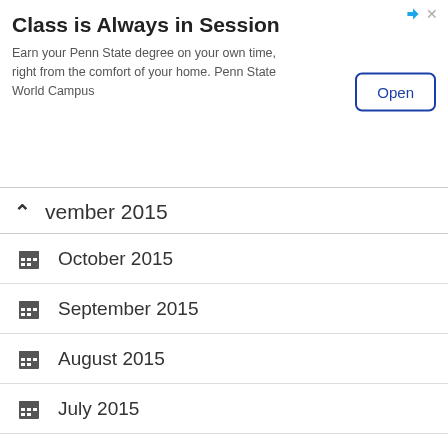[Figure (screenshot): Advertisement banner for Penn State World Campus online degree program with Open button]
November 2015
October 2015
September 2015
August 2015
July 2015
June 2015
April 2015
March 2015
February 2015
January 2015